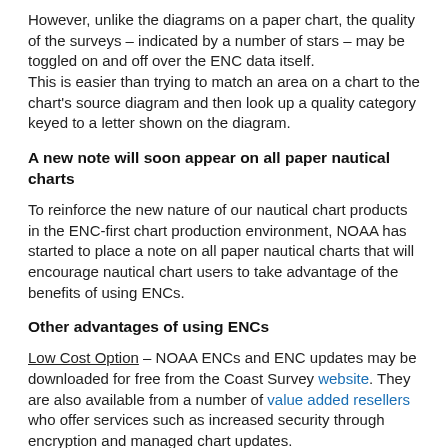However, unlike the diagrams on a paper chart, the quality of the surveys – indicated by a number of stars – may be toggled on and off over the ENC data itself. This is easier than trying to match an area on a chart to the chart's source diagram and then look up a quality category keyed to a letter shown on the diagram.
A new note will soon appear on all paper nautical charts
To reinforce the new nature of our nautical chart products in the ENC-first chart production environment, NOAA has started to place a note on all paper nautical charts that will encourage nautical chart users to take advantage of the benefits of using ENCs.
Other advantages of using ENCs
Low Cost Option – NOAA ENCs and ENC updates may be downloaded for free from the Coast Survey website. They are also available from a number of value added resellers who offer services such as increased security through encryption and managed chart updates.